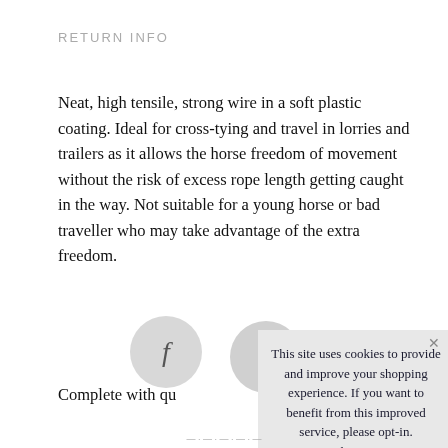RETURN INFO
Neat, high tensile, strong wire in a soft plastic coating. Ideal for cross-tying and travel in lorries and trailers as it allows the horse freedom of movement without the risk of excess rope length getting caught in the way. Not suitable for a young horse or bad traveller who may take advantage of the extra freedom.
Complete with qu
This site uses cookies to provide and improve your shopping experience. If you want to benefit from this improved service, please opt-in. Cookies Page.
I opt-in to a better browsing experience
ACCEPT COOKIES